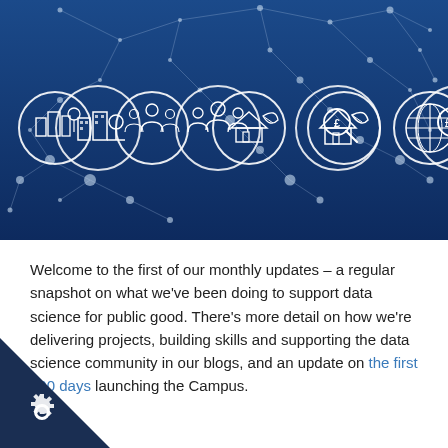[Figure (illustration): Dark blue banner image with a network/data visualization background (white dots connected by lines forming a constellation pattern). In the center are five white circle icons representing: city/buildings with tree, group of people, house with leaf, pound-sign magnifying glass, and globe/grid. The overall aesthetic is a data science themed header graphic.]
Welcome to the first of our monthly updates – a regular snapshot on what we've been doing to support data science for public good. There's more detail on how we're delivering projects, building skills and supporting the data science community in our blogs, and an update on the first 100 days launching the Campus.